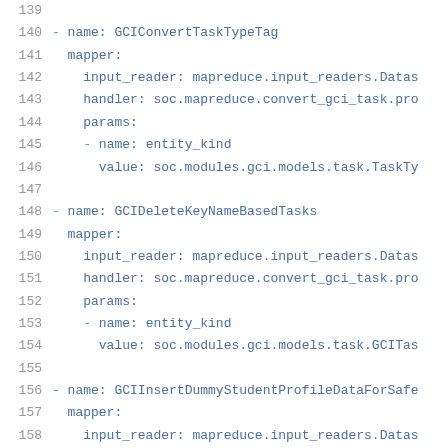139  (blank)
140  - name: GCIConvertTaskTypeTag
141    mapper:
142      input_reader: mapreduce.input_readers.Datas
143      handler: soc.mapreduce.convert_gci_task.pro
144      params:
145      - name: entity_kind
146        value: soc.modules.gci.models.task.TaskTy
147  (blank)
148  - name: GCIDeleteKeyNameBasedTasks
149    mapper:
150      input_reader: mapreduce.input_readers.Datas
151      handler: soc.mapreduce.convert_gci_task.pro
152      params:
153      - name: entity_kind
154        value: soc.modules.gci.models.task.GCITas
155  (blank)
156  - name: GCIInsertDummyStudentProfileDataForSafe
157    mapper:
158      input_reader: mapreduce.input_readers.Datas
159      handler: soc.mapreduce.gci_insert_dummy_dat
160      params: